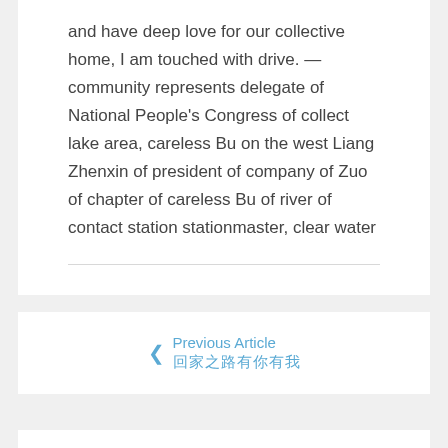and have deep love for our collective home, I am touched with drive. — community represents delegate of National People's Congress of collect lake area, careless Bu on the west Liang Zhenxin of president of company of Zuo of chapter of careless Bu of river of contact station stationmaster, clear water
Previous Article 〔七个方块字〕